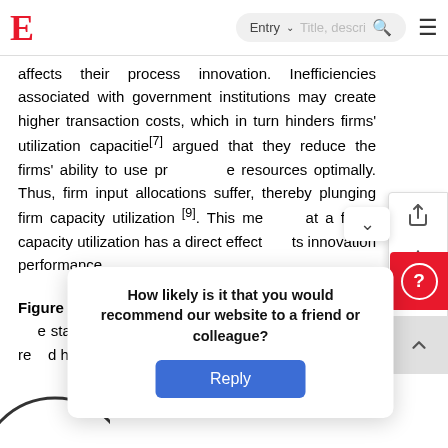E  Entry  Title, descri...
affects their process innovation. Inefficiencies associated with government institutions may create higher transaction costs, which in turn hinders firms' utilization capacities [7] argued that they reduce the firms' ability to use productive resources optimally. Thus, firm input allocations suffer, thereby plunging firm capacity utilization [9]. This means that a firm's capacity utilization has a direct effect on its innovation performance.
Figure 1 illustrates the conceptual model and indicates the stated hypotheses based on the strand literature reviewed herein.
How likely is it that you would recommend our website to a friend or colleague?